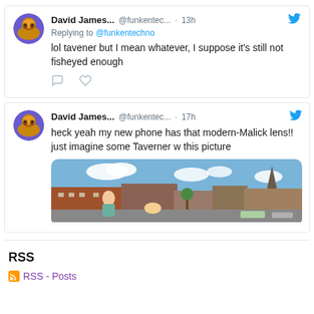[Figure (screenshot): Tweet from David James... @funkentec... 13h, replying to @funkentechno: lol tavener but I mean whatever, I suppose it's still not fisheyed enough]
[Figure (screenshot): Tweet from David James... @funkentec... 17h: heck yeah my new phone has that modern-Malick lens!! just imagine some Taverner w this picture, with attached street scene photo]
RSS
RSS - Posts